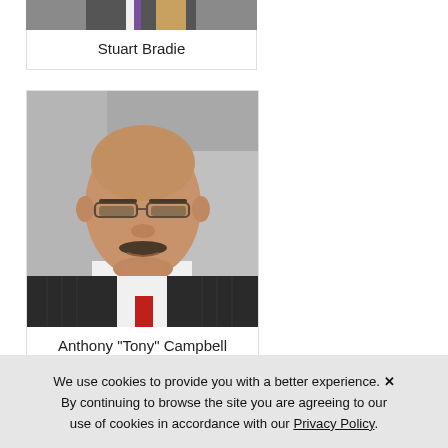[Figure (photo): Partial headshot photo of Stuart Bradie, cropped at top]
Stuart Bradie
[Figure (photo): Headshot photo of Anthony Tony Campbell, a bald man with glasses and a mustache wearing a dark suit and red tie, against a grey background]
Anthony "Tony" Campbell
We use cookies to provide you with a better experience. × By continuing to browse the site you are agreeing to our use of cookies in accordance with our Privacy Policy.